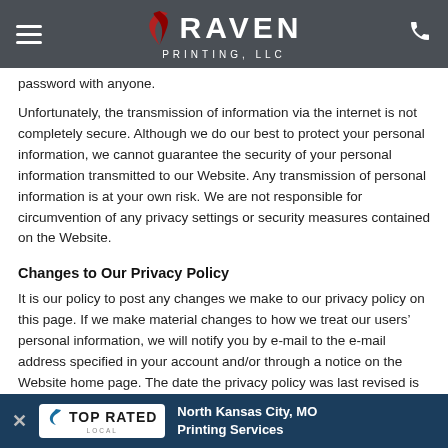Raven Printing, LLC
password with anyone.
Unfortunately, the transmission of information via the internet is not completely secure. Although we do our best to protect your personal information, we cannot guarantee the security of your personal information transmitted to our Website. Any transmission of personal information is at your own risk. We are not responsible for circumvention of any privacy settings or security measures contained on the Website.
Changes to Our Privacy Policy
It is our policy to post any changes we make to our privacy policy on this page. If we make material changes to how we treat our users’ personal information, we will notify you by e-mail to the e-mail address specified in your account and/or through a notice on the Website home page. The date the privacy policy was last revised is identified at the top of the page. You are responsible for ensuring we have an up-to-date active and deliverable e-mail address for you, and for periodically visiting our Website and this privacy policy to ch…